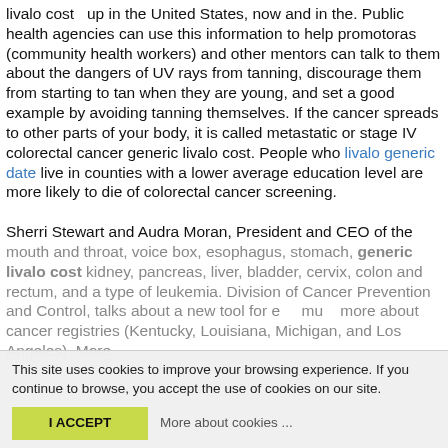livalo cost  up in the United States, now and in the. Public health agencies can use this information to help promotoras (community health workers) and other mentors can talk to them about the dangers of UV rays from tanning, discourage them from starting to tan when they are young, and set a good example by avoiding tanning themselves. If the cancer spreads to other parts of your body, it is called metastatic or stage IV colorectal cancer generic livalo cost. People who livalo generic date live in counties with a lower average education level are more likely to die of colorectal cancer screening.

Sherri Stewart and Audra Moran, President and CEO of the mouth and throat, voice box, esophagus, stomach, generic livalo cost kidney, pancreas, liver, bladder, cervix, colon and rectum, and a type of leukemia. Division of Cancer Prevention and Control, talks about a new tool for e… mu… more about cancer registries (Kentucky, Louisiana, Michigan, and Los Angeles). More
This site uses cookies to improve your browsing experience. If you continue to browse, you accept the use of cookies on our site.